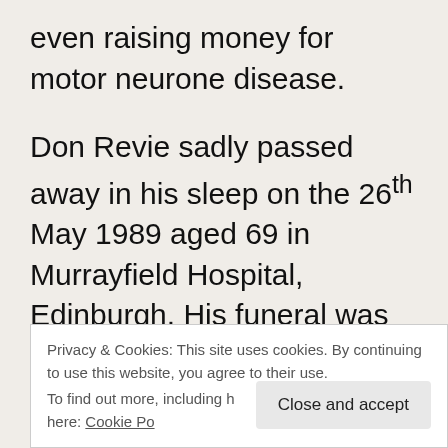even raising money for motor neurone disease.
Don Revie sadly passed away in his sleep on the 26th May 1989 aged 69 in Murrayfield Hospital, Edinburgh. His funeral was attended by mainly Leeds representatives but also by
Privacy & Cookies: This site uses cookies. By continuing to use this website, you agree to their use.
To find out more, including how to control cookies, see here: Cookie Policy
Close and accept